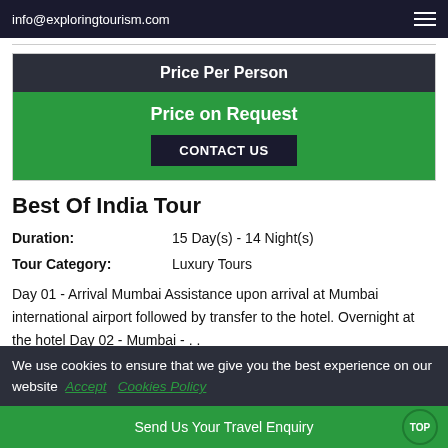info@exploringtourism.com
Price Per Person
Price on Request
CONTACT US
Best Of India Tour
Duration: 15 Day(s) - 14 Night(s)
Tour Category: Luxury Tours
Day 01 - Arrival Mumbai Assistance upon arrival at Mumbai international airport followed by transfer to the hotel. Overnight at the hotel Day 02 - Mumbai - . .
We use cookies to ensure that we give you the best experience on our website  Accept  Cookies Policy
Send Us Your Travel Enquiry